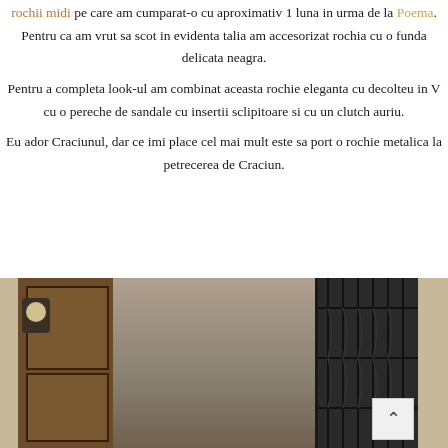rochii midi pe care am cumparat-o cu aproximativ 1 luna in urma de la Poema. Pentru ca am vrut sa scot in evidenta talia am accesorizat rochia cu o funda delicata neagra.
Pentru a completa look-ul am combinat aceasta rochie eleganta cu decolteu in V cu o pereche de sandale cu insertii sclipitoare si cu un clutch auriu.
Eu ador Craciunul, dar ce imi place cel mai mult este sa port o rochie metalica la petrecerea de Craciun.
[Figure (photo): Photo of a person standing in front of a building entrance with wooden doors and an iron gate, outdoor architectural setting]